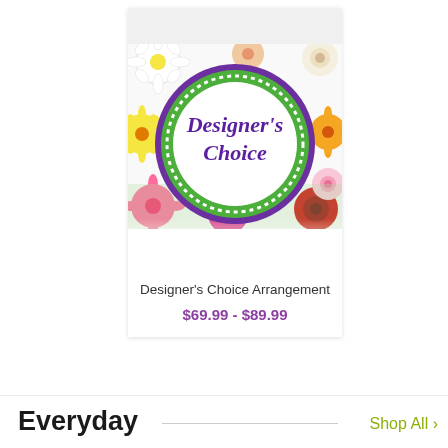[Figure (photo): Product card showing Designer's Choice Arrangement with colorful flowers surrounding a circular green and purple logo badge reading "Designer's Choice" in cursive script]
Designer's Choice Arrangement
$69.99 - $89.99
Everyday
Shop All ›